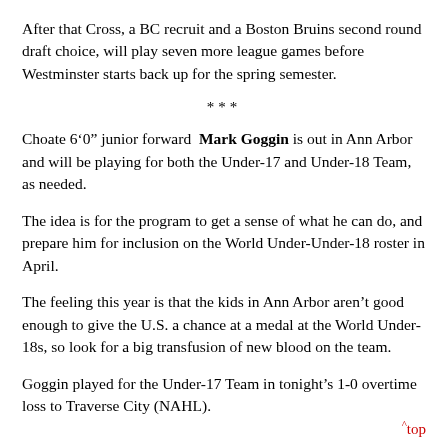After that Cross, a BC recruit and a Boston Bruins second round draft choice, will play seven more league games before Westminster starts back up for the spring semester.
***
Choate 6’0” junior forward Mark Goggin is out in Ann Arbor and will be playing for both the Under-17 and Under-18 Team, as needed.
The idea is for the program to get a sense of what he can do, and prepare him for inclusion on the World Under-Under-18 roster in April.
The feeling this year is that the kids in Ann Arbor aren’t good enough to give the U.S. a chance at a medal at the World Under-18s, so look for a big transfusion of new blood on the team.
Goggin played for the Under-17 Team in tonight’s 1-0 overtime loss to Traverse City (NAHL).
^top